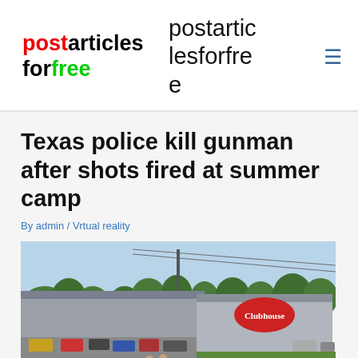postarticlesforfree / postarticlesforfree
Texas police kill gunman after shots fired at summer camp
By admin / Vrtual reality
[Figure (photo): Outdoor scene showing a large commercial building with a red sign, parking lot with vehicles, utility poles with power lines, green trees in background, and two people on the grass in foreground.]